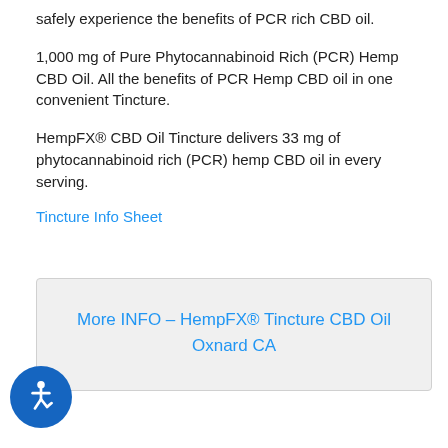safely experience the benefits of PCR rich CBD oil.
1,000 mg of Pure Phytocannabinoid Rich (PCR) Hemp CBD Oil. All the benefits of PCR Hemp CBD oil in one convenient Tincture.
HempFX® CBD Oil Tincture delivers 33 mg of phytocannabinoid rich (PCR) hemp CBD oil in every serving.
Tincture Info Sheet
More INFO – HempFX® Tincture CBD Oil Oxnard CA
[Figure (logo): Accessibility icon - blue circle with wheelchair user symbol]